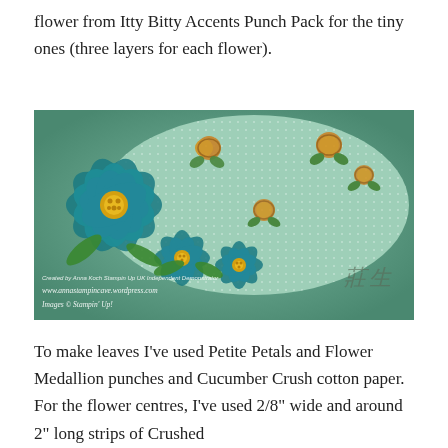flower from Itty Bitty Accents Punch Pack for the tiny ones (three layers for each flower).
[Figure (photo): Close-up photo of handmade teal paper flowers on a craft card. Large teal flower with yellow centre, two smaller teal flowers, against a mint green polka-dot oval background with stamped orange/gold rose motifs. Horizontal striped card background visible at bottom. Watermark text reads: 'Created by Anna Koch Stampin Up UK Independent Demonstrator', 'www.annastampincave.wordpress.com', 'Images © Stampin' Up!']
To make leaves I've used Petite Petals and Flower Medallion punches and Cucumber Crush cotton paper. For the flower centres, I've used 2/8" wide and around 2" long strips of Crushed